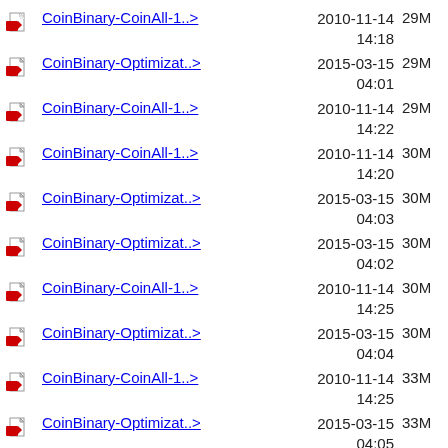CoinBinary-CoinAll-1..> 2010-11-14 14:18 29M
CoinBinary-Optimizat..> 2015-03-15 04:01 29M
CoinBinary-CoinAll-1..> 2010-11-14 14:22 29M
CoinBinary-CoinAll-1..> 2010-11-14 14:20 30M
CoinBinary-Optimizat..> 2015-03-15 04:03 30M
CoinBinary-Optimizat..> 2015-03-15 04:02 30M
CoinBinary-CoinAll-1..> 2010-11-14 14:25 30M
CoinBinary-Optimizat..> 2015-03-15 04:04 30M
CoinBinary-CoinAll-1..> 2010-11-14 14:25 33M
CoinBinary-Optimizat..> 2015-03-15 04:05 33M
CoinBinary-Optimizat..> 2015-03-15 04:04 38M
CoinBinary-CoinAll-1..> 2010-11-14 ...